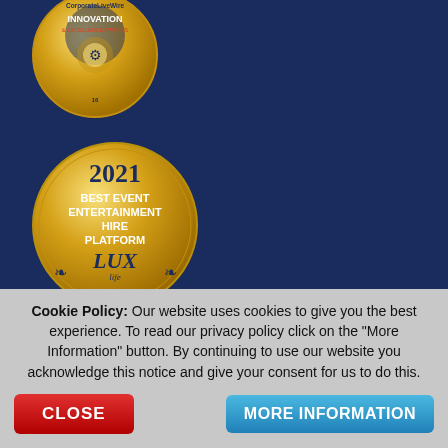[Figure (logo): CorporateLiveWire Innovation & Excellence Awards badge, gold circular medal, partially cropped at top]
[Figure (logo): 2021 Best Event Entertainment Hire Platform - LUX Life award badge, gold circular medal]
Helping Entertainers
Entertainers Worldwide Jobs
Cookie Policy: Our website uses cookies to give you the best experience. To read our privacy policy click on the "More Information" button. By continuing to use our website you acknowledge this notice and give your consent for us to do this.
CLOSE
MORE INFORMATION